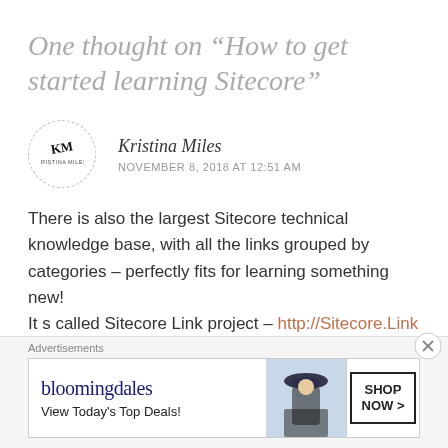One thought on “How to get started learning Sitecore”
Kristina Miles
NOVEMBER 8, 2018 AT 12:51 AM
There is also the largest Sitecore technical knowledge base, with all the links grouped by categories – perfectly fits for learning something new!
It s called Sitecore Link project – http://Sitecore.Link
★ Like
Advertisements
[Figure (screenshot): Bloomingdale's advertisement banner: logo text 'bloomingdales', tagline 'View Today’s Top Deals!', image of woman with hat, and 'SHOP NOW >' button]